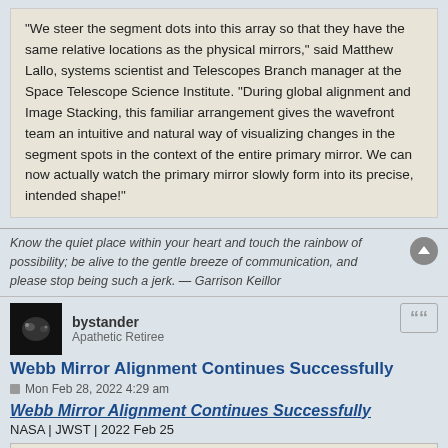“We steer the segment dots into this array so that they have the same relative locations as the physical mirrors,” said Matthew Lallo, systems scientist and Telescopes Branch manager at the Space Telescope Science Institute. “During global alignment and Image Stacking, this familiar arrangement gives the wavefront team an intuitive and natural way of visualizing changes in the segment spots in the context of the entire primary mirror. We can now actually watch the primary mirror slowly form into its precise, intended shape!”
Know the quiet place within your heart and touch the rainbow of possibility; be alive to the gentle breeze of communication, and please stop being such a jerk. — Garrison Keillor
bystander
Apathetic Retiree
Webb Mirror Alignment Continues Successfully
Mon Feb 28, 2022 4:29 am
Webb Mirror Alignment Continues Successfully
NASA | JWST | 2022 Feb 25